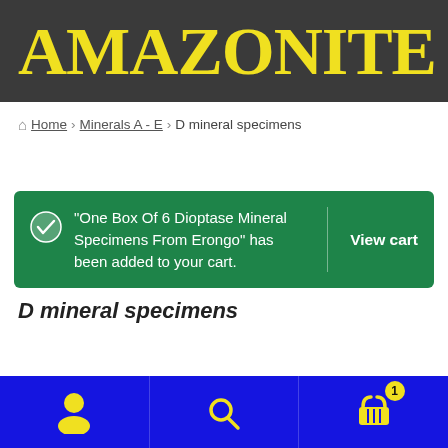AMAZONITE
Home > Minerals A - E > D mineral specimens
"One Box Of 6 Dioptase Mineral Specimens From Erongo" has been added to your cart. View cart
D mineral specimens
[Figure (infographic): Bottom navigation bar with user icon, search icon, and shopping cart icon with badge showing 1 item, on a blue background]